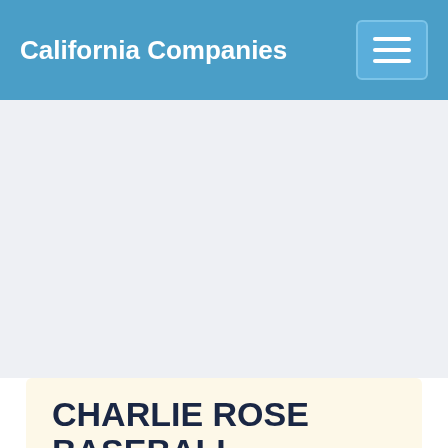California Companies
CHARLIE ROSE BASEBALL,